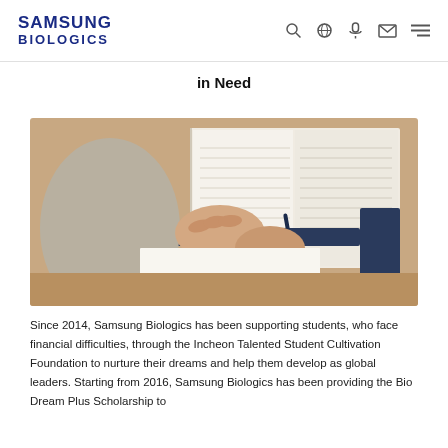SAMSUNG BIOLOGICS
in Need
[Figure (photo): Person studying at a desk, writing in a notebook with an open book in the background]
Since 2014, Samsung Biologics has been supporting students, who face financial difficulties, through the Incheon Talented Student Cultivation Foundation to nurture their dreams and help them develop as global leaders. Starting from 2016, Samsung Biologics has been providing the Bio Dream Plus Scholarship to